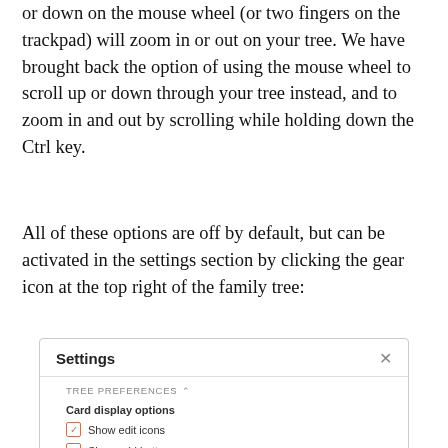or down on the mouse wheel (or two fingers on the trackpad) will zoom in or out on your tree. We have brought back the option of using the mouse wheel to scroll up or down through your tree instead, and to zoom in and out by scrolling while holding down the Ctrl key.
All of these options are off by default, but can be activated in the settings section by clicking the gear icon at the top right of the family tree:
[Figure (screenshot): A settings dialog box showing 'Settings' header with an X close button, a 'TREE PREFERENCES' section with a caret, 'Card display options' subsection with checkboxes: 'Show edit icons' (checked), 'Show add buttons' (checked), 'Show birth and death icons' (unchecked).]